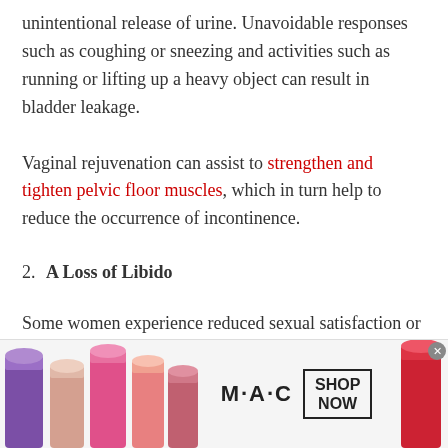unintentional release of urine. Unavoidable responses such as coughing or sneezing and activities such as running or lifting up a heavy object can result in bladder leakage.
Vaginal rejuvenation can assist to strengthen and tighten pelvic floor muscles, which in turn help to reduce the occurrence of incontinence.
2. A Loss of Libido
Some women experience reduced sexual satisfaction or even a complete lack of interest in intercourse after
[Figure (advertisement): MAC Cosmetics advertisement banner showing colorful lipsticks on the left and right, MAC logo in the center with a 'SHOP NOW' button.]